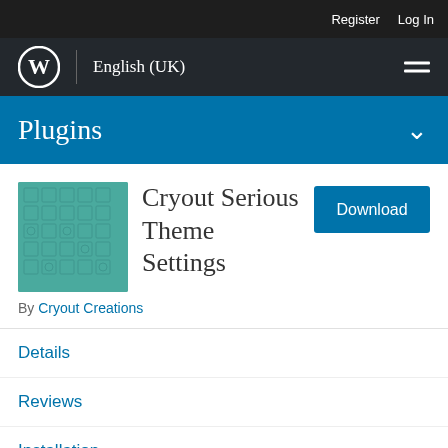Register   Log In
English (UK)
Plugins
Cryout Serious Theme Settings
By Cryout Creations
Details
Reviews
Installation